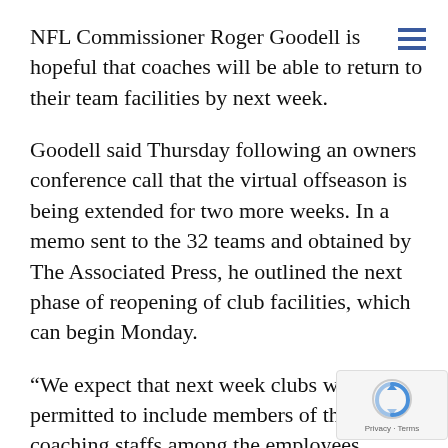NFL Commissioner Roger Goodell is hopeful that coaches will be able to return to their team facilities by next week.
Goodell said Thursday following an owners conference call that the virtual offseason is being extended for two more weeks. In a memo sent to the 32 teams and obtained by The Associated Press, he outlined the next phase of reopening of club facilities, which can begin Monday.
“We expect that next week clubs will be permitted to include members of their coaching staffs among the employees permitted to resume work in the club facility,” Goodell wrote. “We are actively working governors and other state and local authorities in the states that have not yet announced definitive plans and